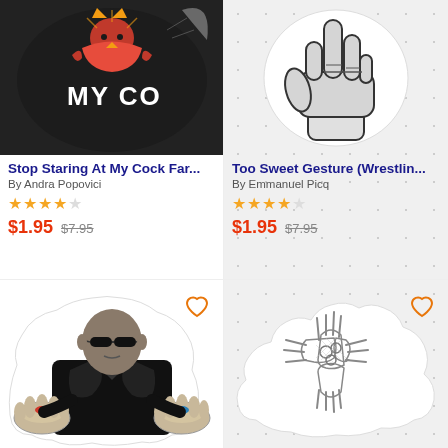[Figure (illustration): Dark circular sticker with rooster/bird graphic and text 'MY CO...' partially visible, curled corner effect]
[Figure (illustration): White oval sticker showing black and white fist illustration (too sweet wrestling gesture) on dotted grey background]
Stop Staring At My Cock Far...
By Andra Popovici
$1.95 $7.95
Too Sweet Gesture (Wrestlin...
By Emmanuel Picq
$1.95 $7.95
[Figure (illustration): Black and white sticker of person in dark jacket holding two pills (red and blue) in outstretched hands, Matrix Morpheus character]
[Figure (illustration): White cloud-shaped sticker showing pencil sketch of multiple hands with interlocked fingers/knuckles on dotted grey background]